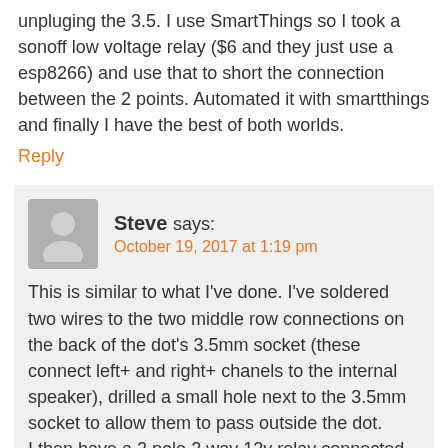unpluging the 3.5. I use SmartThings so I took a sonoff low voltage relay ($6 and they just use a esp8266) and use that to short the connection between the 2 points. Automated it with smartthings and finally I have the best of both worlds.
Reply
Steve says: October 19, 2017 at 1:19 pm
This is similar to what I've done. I've soldered two wires to the two middle row connections on the back of the dot's 3.5mm socket (these connect left+ and right+ chanels to the internal speaker), drilled a small hole next to the 3.5mm socket to allow them to pass outside the dot.
I then have a 2 pole 2 way 12v relay connected to my amp, luckily the amp has a 12v control output that energises when amp is on.
The L+ and R+ output from the 3.5mm plug inserted into the socket goes to the common on the relay (1 to each pole).
Then the normally open side is connected to L+ and R+ on the phono cables connected to the amp and the normally